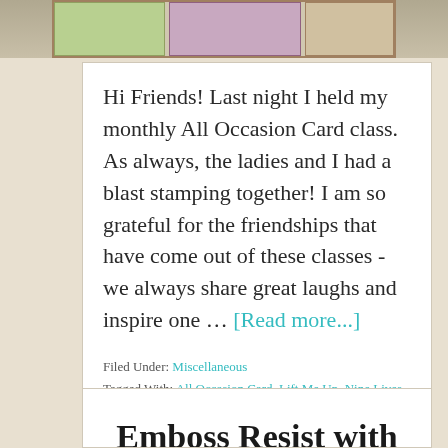[Figure (photo): Top cropped image showing greeting cards on a table, partially visible]
Hi Friends! Last night I held my monthly All Occasion Card class. As always, the ladies and I had a blast stamping together! I am so grateful for the friendships that have come out of these classes - we always share great laughs and inspire one … [Read more...]
Filed Under: Miscellaneous
Tagged With: All Occasion Card, Lift Me Up, Nine Lives, Petal Palette, Timeless Textures, video
Emboss Resist with